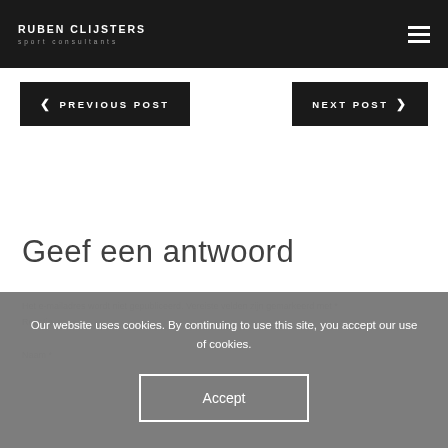RUBEN CLIJSTERS sport consultants
PREVIOUS POST
NEXT POST
Geef een antwoord
Our website uses cookies. By continuing to use this site, you accept our use of cookies.
Accept